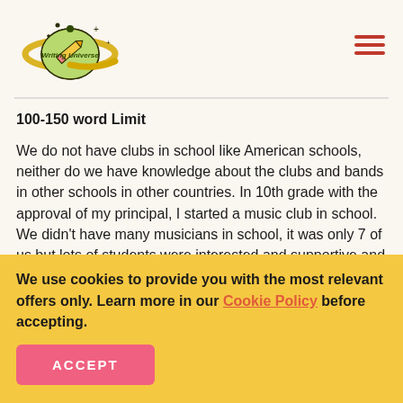[Figure (logo): Writing Universe logo — a planet with a pencil and stars, green and yellow colors with dark text]
100-150 word Limit
We do not have clubs in school like American schools, neither do we have knowledge about the clubs and bands in other schools in other countries. In 10th grade with the approval of my principal, I started a music club in school. We didn't have many musicians in school, it was only 7 of us but lots of students were interested and supportive and willing to learn music. Everything was going well but somehow the ministry
We use cookies to provide you with the most relevant offers only. Learn more in our Cookie Policy before accepting.
ACCEPT